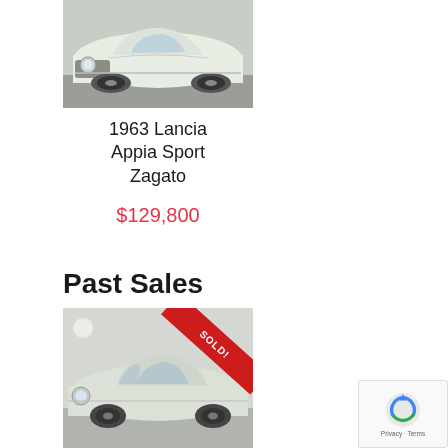[Figure (photo): Front view of a white 1963 Lancia Appia Sport Zagato classic car in a garage setting]
1963 Lancia Appia Sport Zagato
$129,800
Past Sales
[Figure (photo): Side/front view of a light-colored classic car (Lancia) with a red SOLD! diagonal ribbon banner overlaid in the top-right corner]